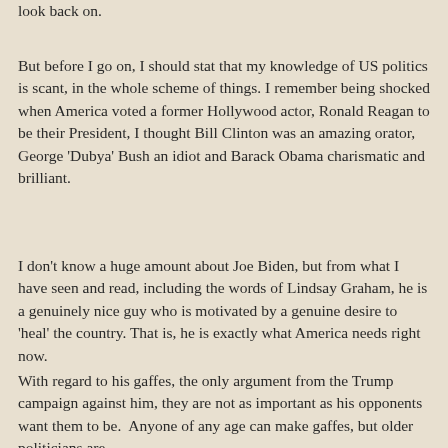look back on.
But before I go on, I should stat that my knowledge of US politics is scant, in the whole scheme of things. I remember being shocked when America voted a former Hollywood actor, Ronald Reagan to be their President, I thought Bill Clinton was an amazing orator, George 'Dubya' Bush an idiot and Barack Obama charismatic and brilliant.
I don't know a huge amount about Joe Biden, but from what I have seen and read, including the words of Lindsay Graham, he is a genuinely nice guy who is motivated by a genuine desire to 'heal' the country. That is, he is exactly what America needs right now.
With regard to his gaffes, the only argument from the Trump campaign against him, they are not as important as his opponents want them to be.  Anyone of any age can make gaffes, but older politicians are